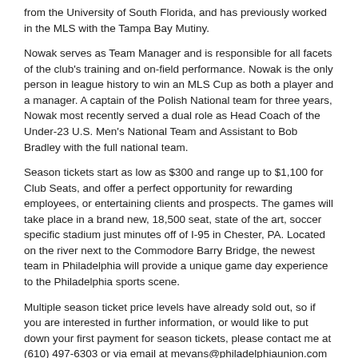from the University of South Florida, and has previously worked in the MLS with the Tampa Bay Mutiny.
Nowak serves as Team Manager and is responsible for all facets of the club's training and on-field performance. Nowak is the only person in league history to win an MLS Cup as both a player and a manager. A captain of the Polish National team for three years, Nowak most recently served a dual role as Head Coach of the Under-23 U.S. Men's National Team and Assistant to Bob Bradley with the full national team.
Season tickets start as low as $300 and range up to $1,100 for Club Seats, and offer a perfect opportunity for rewarding employees, or entertaining clients and prospects. The games will take place in a brand new, 18,500 seat, state of the art, soccer specific stadium just minutes off of I-95 in Chester, PA. Located on the river next to the Commodore Barry Bridge, the newest team in Philadelphia will provide a unique game day experience to the Philadelphia sports scene.
Multiple season ticket price levels have already sold out, so if you are interested in further information, or would like to put down your first payment for season tickets, please contact me at (610) 497-6303 or via email at mevans@philadelphiaunion.com today!